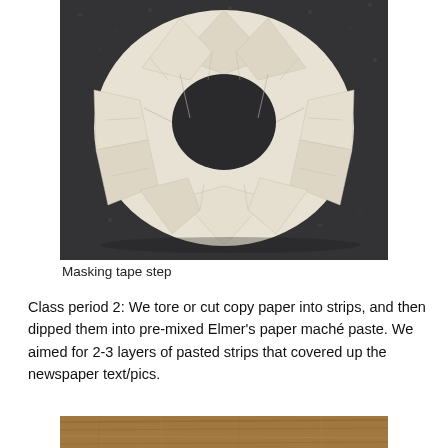[Figure (photo): A donut-shaped ring made from masking tape strips folded over, placed on a dark speckled surface. The ring has a hole in the center and the tape is layered creating a ruffled appearance.]
Masking tape step
Class period 2: We tore or cut copy paper into strips, and then dipped them into pre-mixed Elmer's paper maché paste. We aimed for 2-3 layers of pasted strips that covered up the newspaper text/pics.
[Figure (photo): Partial view of a wooden surface, visible at the bottom of the page.]